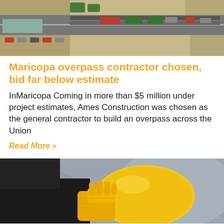[Figure (photo): Aerial view of a road intersection and parking lot with vehicles, green canopies, and warehouse structures]
Maricopa overpass contractor chosen, bid far below estimate
InMaricopa Coming in more than $5 million under project estimates, Ames Construction was chosen as the general contractor to build an overpass across the Union
Read More »
[Figure (photo): A person wearing yellow work gloves holding a yellow construction hard hat against a blurred background]